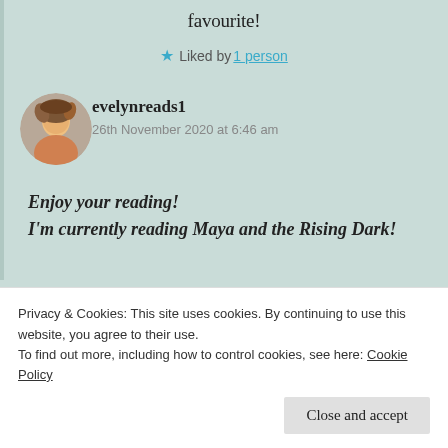favourite!
★ Liked by 1 person
evelynreads1
26th November 2020 at 6:46 am
Enjoy your reading! I'm currently reading Maya and the Rising Dark!
Privacy & Cookies: This site uses cookies. By continuing to use this website, you agree to their use.
To find out more, including how to control cookies, see here: Cookie Policy
Close and accept